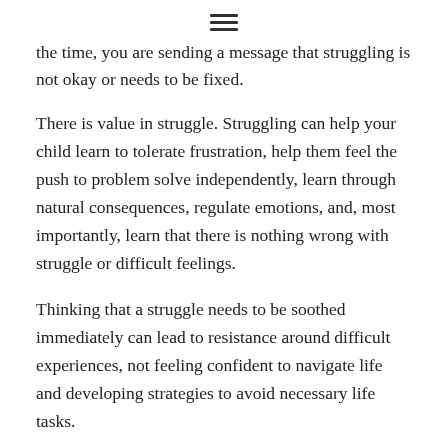≡
the time, you are sending a message that struggling is not okay or needs to be fixed.
There is value in struggle. Struggling can help your child learn to tolerate frustration, help them feel the push to problem solve independently, learn through natural consequences, regulate emotions, and, most importantly, learn that there is nothing wrong with struggle or difficult feelings.
Thinking that a struggle needs to be soothed immediately can lead to resistance around difficult experiences, not feeling confident to navigate life and developing strategies to avoid necessary life tasks.